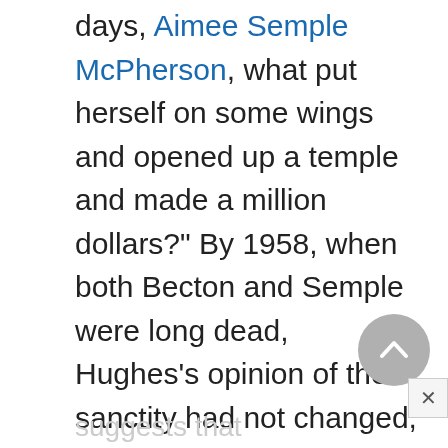days, Aimee Semple McPherson, what put herself on some wings and opened up a temple and made a million dollars?" By 1958, when both Becton and Semple were long dead, Hughes's opinion of their sanctity had not changed, but he was able now to treat their deceptions with humor instead of pure anger. For Laura, of course, Becton and McPherson are good examples—of how to fleece poor believers.
A note in the margin suggests that...